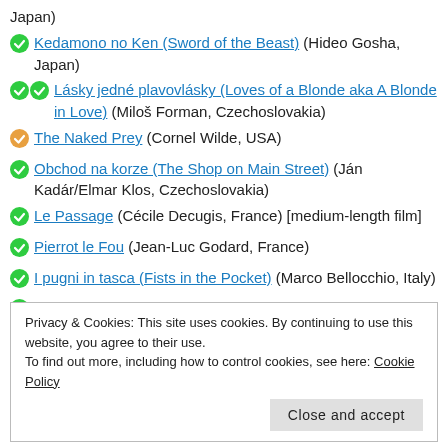Japan)
Kedamono no Ken (Sword of the Beast) (Hideo Gosha, Japan)
Lásky jedné plavovlásky (Loves of a Blonde aka A Blonde in Love) (Miloš Forman, Czechoslovakia)
The Naked Prey (Cornel Wilde, USA)
Obchod na korze (The Shop on Main Street) (Ján Kadár/Elmar Klos, Czechoslovakia)
Le Passage (Cécile Decugis, France) [medium-length film]
Pierrot le Fou (Jean-Luc Godard, France)
I pugni in tasca (Fists in the Pocket) (Marco Bellocchio, Italy)
Repulsion (Roman Polanski, UK)
Shunpuden (Story of a Prostitute) (Seijun Suzuki, Japan)
Privacy & Cookies: This site uses cookies. By continuing to use this website, you agree to their use. To find out more, including how to control cookies, see here: Cookie Policy
Close and accept